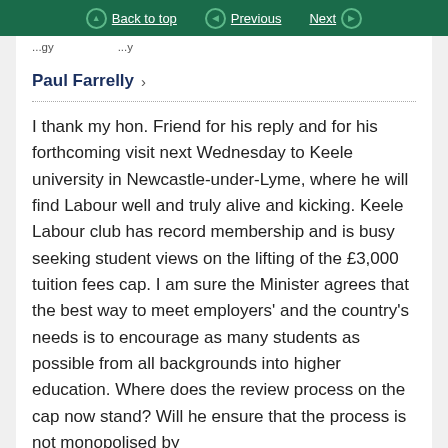Back to top  Previous  Next
...y ...y
Paul Farrelly >
I thank my hon. Friend for his reply and for his forthcoming visit next Wednesday to Keele university in Newcastle-under-Lyme, where he will find Labour well and truly alive and kicking. Keele Labour club has record membership and is busy seeking student views on the lifting of the £3,000 tuition fees cap. I am sure the Minister agrees that the best way to meet employers' and the country's needs is to encourage as many students as possible from all backgrounds into higher education. Where does the review process on the cap now stand? Will he ensure that the process is not monopolised by